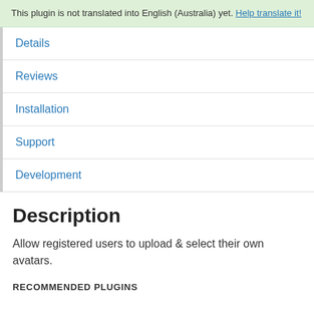This plugin is not translated into English (Australia) yet. Help translate it!
Details
Reviews
Installation
Support
Development
Description
Allow registered users to upload & select their own avatars.
RECOMMENDED PLUGINS